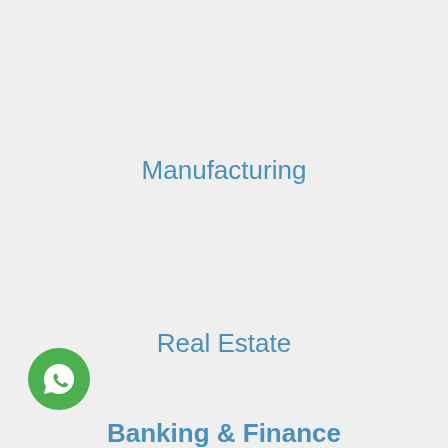Manufacturing
Real Estate
[Figure (other): Green WhatsApp chat button icon (circle with speech bubble)]
Banking & Finance